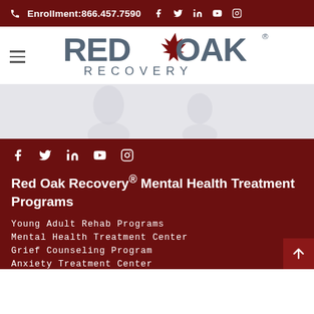Enrollment:866.457.7590
[Figure (logo): Red Oak Recovery logo with red maple leaf between RED and OAK text, RECOVERY below]
[Figure (photo): Hero image with silhouette figures on light gray background]
Social media icons: facebook, twitter, linkedin, youtube, instagram
Red Oak Recovery® Mental Health Treatment Programs
Young Adult Rehab Programs
Mental Health Treatment Center
Grief Counseling Program
Anxiety Treatment Center